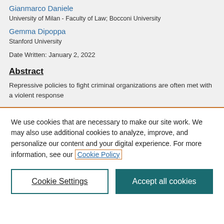Gianmarco Daniele
University of Milan - Faculty of Law; Bocconi University
Gemma Dipoppa
Stanford University
Date Written: January 2, 2022
Abstract
Repressive policies to fight criminal organizations are often met with a violent response
We use cookies that are necessary to make our site work. We may also use additional cookies to analyze, improve, and personalize our content and your digital experience. For more information, see our Cookie Policy
Cookie Settings
Accept all cookies